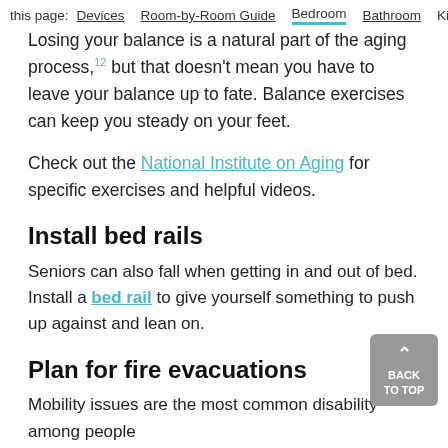this page: Devices  Room-by-Room Guide  Bedroom  Bathroom  Kitche
Losing your balance is a natural part of the aging process,12 but that doesn't mean you have to leave your balance up to fate. Balance exercises can keep you steady on your feet.
Check out the National Institute on Aging for specific exercises and helpful videos.
Install bed rails
Seniors can also fall when getting in and out of bed. Install a bed rail to give yourself something to push up against and lean on.
Plan for fire evacuations
Mobility issues are the most common disability among people